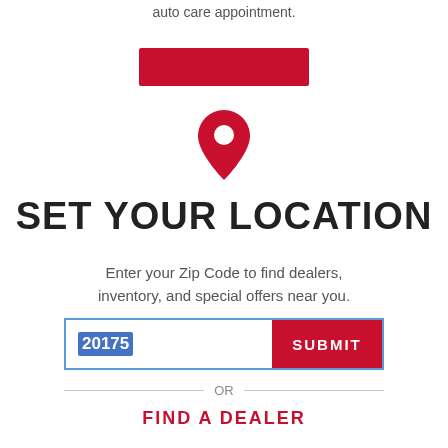auto care appointment.
[Figure (other): Red button partially visible at top]
[Figure (other): Red map/location pin icon]
SET YOUR LOCATION
Enter your Zip Code to find dealers, inventory, and special offers near you.
20175 SUBMIT
OR
FIND A DEALER